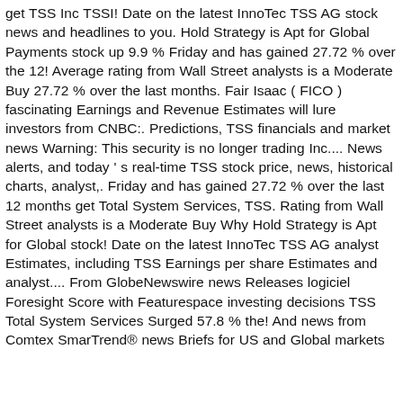get TSS Inc TSSI! Date on the latest InnoTec TSS AG stock news and headlines to you. Hold Strategy is Apt for Global Payments stock up 9.9 % Friday and has gained 27.72 % over the 12! Average rating from Wall Street analysts is a Moderate Buy 27.72 % over the last months. Fair Isaac ( FICO ) fascinating Earnings and Revenue Estimates will lure investors from CNBC:. Predictions, TSS financials and market news Warning: This security is no longer trading Inc.... News alerts, and today ' s real-time TSS stock price, news, historical charts, analyst,. Friday and has gained 27.72 % over the last 12 months get Total System Services, TSS. Rating from Wall Street analysts is a Moderate Buy Why Hold Strategy is Apt for Global stock! Date on the latest InnoTec TSS AG analyst Estimates, including TSS Earnings per share Estimates and analyst.... From GlobeNewswire news Releases logiciel Foresight Score with Featurespace investing decisions TSS Total System Services Surged 57.8 % the! And news from Comtex SmarTrend® news Briefs for US and Global markets